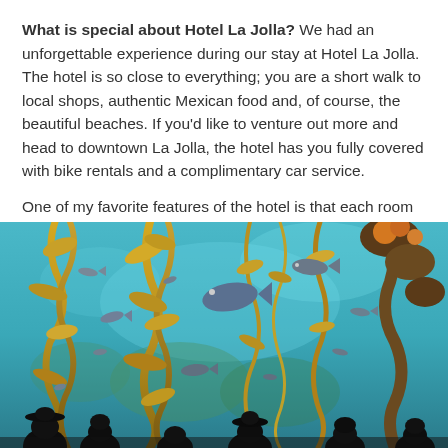What is special about Hotel La Jolla? We had an unforgettable experience during our stay at Hotel La Jolla. The hotel is so close to everything; you are a short walk to local shops, authentic Mexican food and, of course, the beautiful beaches. If you'd like to venture out more and head to downtown La Jolla, the hotel has you fully covered with bike rentals and a complimentary car service.

One of my favorite features of the hotel is that each room from the 6th floor up has sprawling panoramic ocean views.
[Figure (photo): Underwater aquarium scene with kelp forest, fish swimming among golden-brown kelp strands, blue-green water background. Silhouettes of visitors visible at the bottom of the image looking up at the exhibit.]